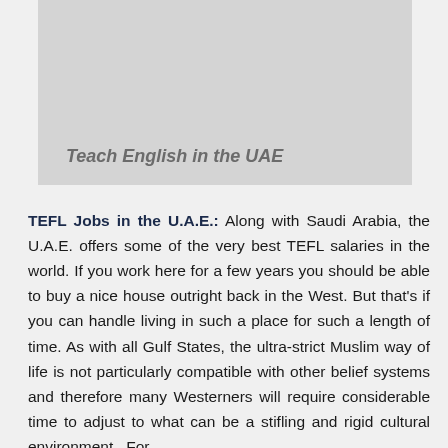[Figure (illustration): Banner image placeholder with title 'Teach English in the UAE' on a light grey background]
TEFL Jobs in the U.A.E.: Along with Saudi Arabia, the U.A.E. offers some of the very best TEFL salaries in the world. If you work here for a few years you should be able to buy a nice house outright back in the West. But that's if you can handle living in such a place for such a length of time. As with all Gulf States, the ultra-strict Muslim way of life is not particularly compatible with other belief systems and therefore many Westerners will require considerable time to adjust to what can be a stifling and rigid cultural environment. For